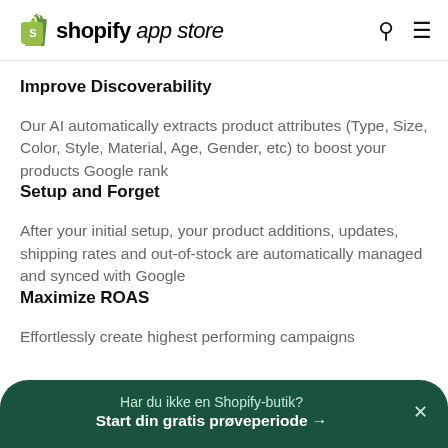shopify app store
Improve Discoverability
Our AI automatically extracts product attributes (Type, Size, Color, Style, Material, Age, Gender, etc) to boost your products Google rank
Setup and Forget
After your initial setup, your product additions, updates, shipping rates and out-of-stock are automatically managed and synced with Google
Maximize ROAS
Effortlessly create highest performing campaigns
Har du ikke en Shopify-butik?
Start din gratis prøveperiode →